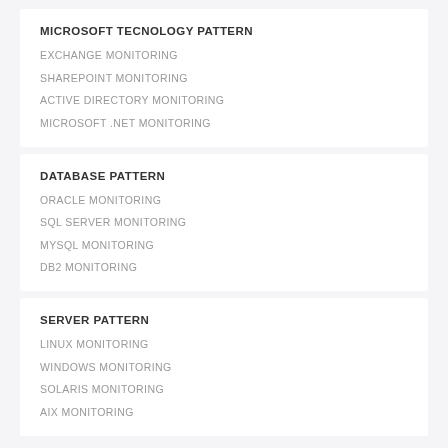MICROSOFT TECNOLOGY PATTERN
EXCHANGE MONITORING
SHAREPOINT MONITORING
ACTIVE DIRECTORY MONITORING
MICROSOFT .NET MONITORING
DATABASE PATTERN
ORACLE MONITORING
SQL SERVER MONITORING
MYSQL MONITORING
DB2 MONITORING
SERVER PATTERN
LINUX MONITORING
WINDOWS MONITORING
SOLARIS MONITORING
AIX MONITORING